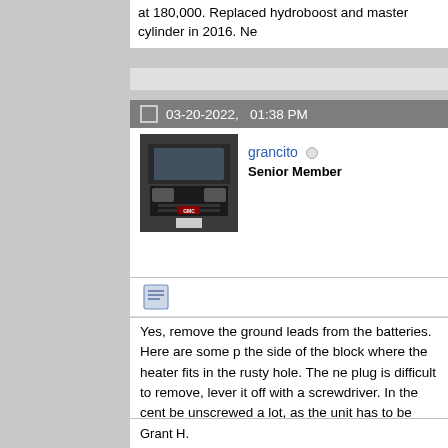at 180,000. Replaced hydroboost and master cylinder in 2016. Ne
03-20-2022,   01:38 PM
[Figure (photo): Avatar photo of a GMC truck front view, dark colored]
grancito  Senior Member
Yes, remove the ground leads from the batteries. Here are some p the side of the block where the heater fits in the rusty hole. The ne plug is difficult to remove, lever it off with a screwdriver. In the cent be unscrewed a lot, as the unit has to be partly extracted and move out. The last photo shows the clamp mechanism unscrewed, if you disappear into the cooling part of the block.SAM_0328.jpgSAM_03 I don't know if any of the photos got attached, this site is difficult fo second photo is the first but not important, at least some were post
Last edited by grancito; 03-20-2022 at 01:41 PM.
Grant H.
1995 6.5 turbo GMC K2500 extra cab 4x4 pickup, PMD under bum 229,000 miles, rebuilt engine, 4.10 diff, 16 mpg